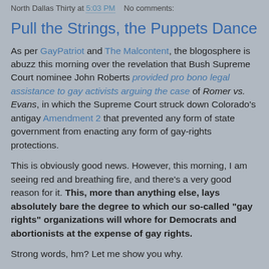North Dallas Thirty at 5:03 PM   No comments:
Pull the Strings, the Puppets Dance
As per GayPatriot and The Malcontent, the blogosphere is abuzz this morning over the revelation that Bush Supreme Court nominee John Roberts provided pro bono legal assistance to gay activists arguing the case of Romer vs. Evans, in which the Supreme Court struck down Colorado's antigay Amendment 2 that prevented any form of state government from enacting any form of gay-rights protections.
This is obviously good news. However, this morning, I am seeing red and breathing fire, and there's a very good reason for it. This, more than anything else, lays absolutely bare the degree to which our so-called "gay rights" organizations will whore for Democrats and abortionists at the expense of gay rights.
Strong words, hm? Let me show you why.